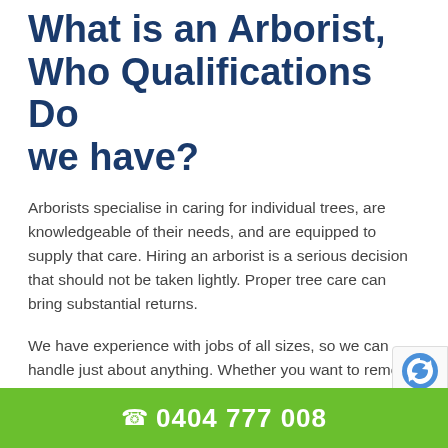What is an Arborist, Who Qualifications Do we have?
Arborists specialise in caring for individual trees, are knowledgeable of their needs, and are equipped to supply that care. Hiring an arborist is a serious decision that should not be taken lightly. Proper tree care can bring substantial returns.
We have experience with jobs of all sizes, so we can handle just about anything. Whether you want to remove your palm trees or a full-blown tree removal, we can handle it all.
A Level 3 Arborist has completed the minimum training in theoretical and practical tree assessment and care. However, a Level 5 Arborist has received more extensive training and i...
0404 777 008